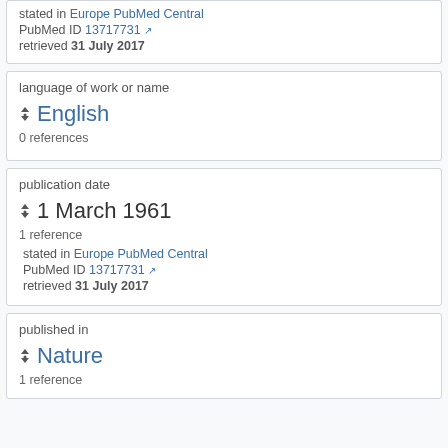stated in Europe PubMed Central
PubMed ID 13717731
retrieved 31 July 2017
language of work or name
English
0 references
publication date
1 March 1961
1 reference
stated in Europe PubMed Central
PubMed ID 13717731
retrieved 31 July 2017
published in
Nature
1 reference